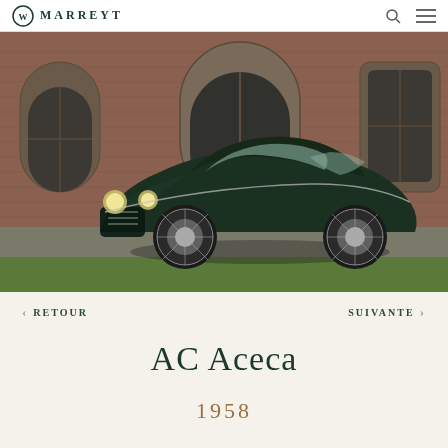MARREYT
[Figure (photo): A dark green AC Aceca classic car parked in front of a historic brick building with arched windows and stone trim. The car is a coupe with wire wheels, photographed outdoors on a gravel driveway with green grass visible.]
< RETOUR   SUIVANTE >
AC Aceca
1958